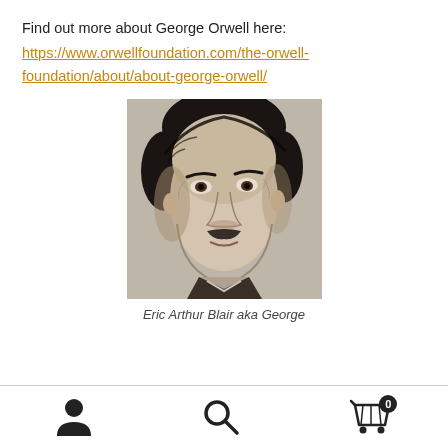Find out more about George Orwell here:
https://www.orwellfoundation.com/the-orwell-foundation/about/about-george-orwell/
[Figure (photo): Black and white portrait photograph of Eric Arthur Blair (George Orwell), a middle-aged man with dark hair and a small mustache.]
Eric Arthur Blair aka George
Navigation icons: user account, search, shopping cart (0)